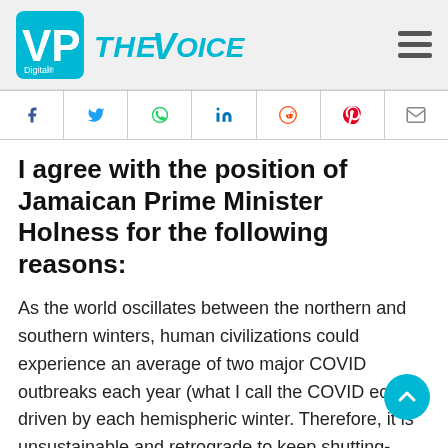[Figure (logo): VP Digital and The Voice newspaper logo with hamburger menu icon in header bar]
[Figure (infographic): Social sharing icon bar with Facebook, Twitter, WhatsApp, LinkedIn, Reddit, Pinterest, and email icons]
I agree with the position of Jamaican Prime Minister Holness for the following reasons:
As the world oscillates between the northern and southern winters, human civilizations could experience an average of two major COVID outbreaks each year (what I call the COVID echo) 1 driven by each hemispheric winter. Therefore, it is unsustainable and retrograde to keep shutting-down economies and societies, in response to each new outbreak.